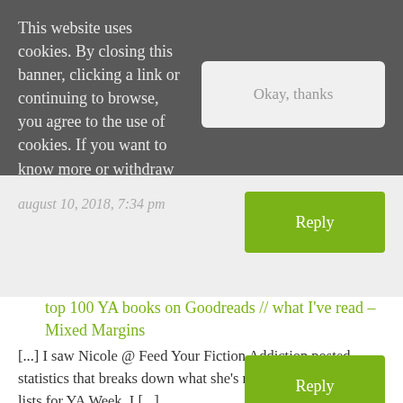This website uses cookies. By closing this banner, clicking a link or continuing to browse, you agree to the use of cookies. If you want to know more or withdraw your consent, please refer to the cookie policy.
Okay, thanks
august 10, 2018, 7:34 pm
Reply
top 100 YA books on Goodreads // what I've read – Mixed Margins
[...] I saw Nicole @ Feed Your Fiction Addiction posted statistics that breaks down what she's read from Goodread's lists for YA Week. I [...]
August 11, 2018, 9:39 am
Reply
Caffeinated Reviewer | Sunday Post #329 Song